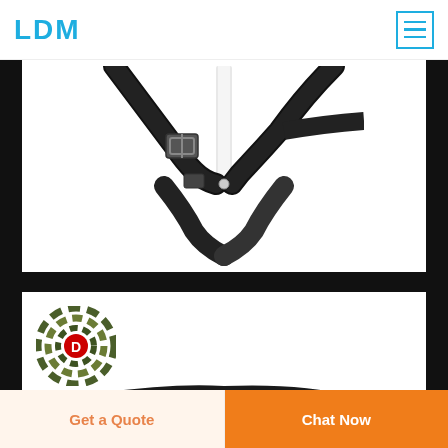LDM
[Figure (photo): Close-up of black tactical straps and metal buckle/adjuster hardware on a white background, with a white pole or bar visible in the center]
[Figure (photo): Deekon brand logo (circular camouflage target with red D in center) and brand name DEEKON in red, with a black tactical plate carrier/vest partially visible below]
Get a Quote
Chat Now